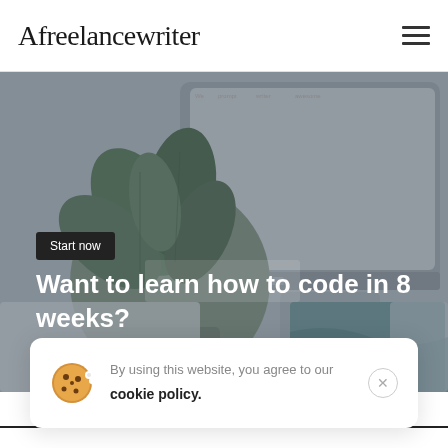Afreelancewriter
[Figure (photo): Hero background image showing a laptop with a potted plant, design mockups, and workspace items arranged on a flat surface, with a semi-transparent dark overlay and a 'Start now' button visible.]
Want to learn how to code in 8 weeks?
Very Good
By using this website, you agree to our cookie policy.